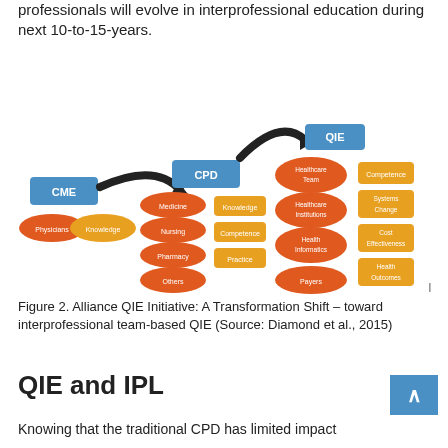professionals will evolve in interprofessional education during next 10-to-15-years.
[Figure (flowchart): Alliance QIE Initiative flowchart showing transformation from CME (with Physicians and Knowledge ovals) to CPD (with Medicine, Nursing, Pharmacy, Others, Knowledge, Competence, Practice ovals) to QIE (with Healthcare Team, Healthcare Institutions, Health Informatics, Payers, Competence, Systems Change, Cost Effectiveness, Health Outcomes boxes/ovals), connected by curved arrows.]
Figure 2. Alliance QIE Initiative: A Transformation Shift – toward interprofessional team-based QIE (Source: Diamond et al., 2015)
QIE and IPL
Knowing that the traditional CPD has limited impact